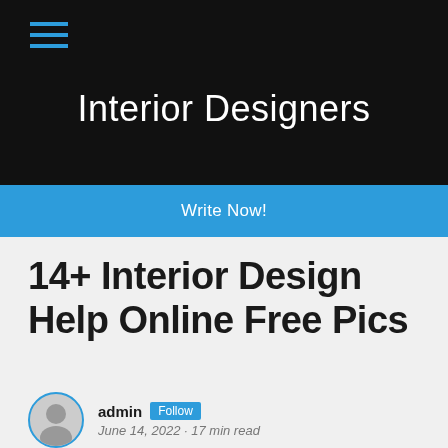Interior Designers
Write Now!
14+ Interior Design Help Online Free Pics
admin Follow
June 14, 2022 · 17 min read